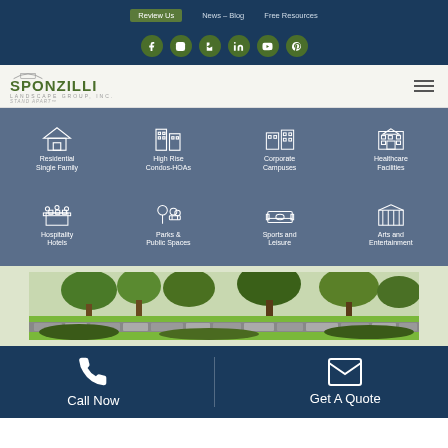Review Us | News – Blog | Free Resources
[Figure (logo): Social media icons: Facebook, Instagram, Houzz, LinkedIn, YouTube, Pinterest on dark navy background]
[Figure (logo): Sponzilli Landscape Group Inc. logo with tagline STAND APART]
[Figure (infographic): Services grid with 8 categories: Residential Single Family, High Rise Condos-HOAs, Corporate Campuses, Healthcare Facilities, Hospitality Hotels, Parks & Public Spaces, Sports and Leisure, Arts and Entertainment]
[Figure (photo): Landscape photo showing green lawn, trees, stone wall, and garden beds]
[Figure (infographic): Call to action bar: phone icon with Call Now, envelope icon with Get A Quote]